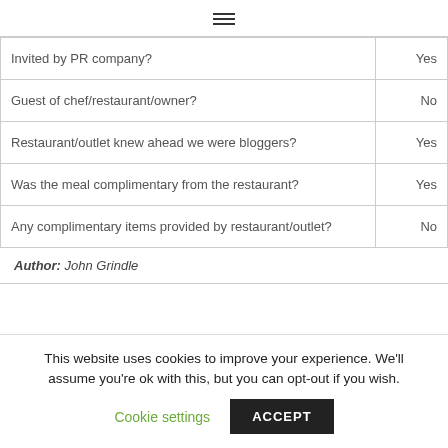≡
| Invited by PR company? | Yes |
| Guest of chef/restaurant/owner? | No |
| Restaurant/outlet knew ahead we were bloggers? | Yes |
| Was the meal complimentary from the restaurant? | Yes |
| Any complimentary items provided by restaurant/outlet? | No |
Author: John Grindle
This website uses cookies to improve your experience. We'll assume you're ok with this, but you can opt-out if you wish.
Cookie settings  ACCEPT